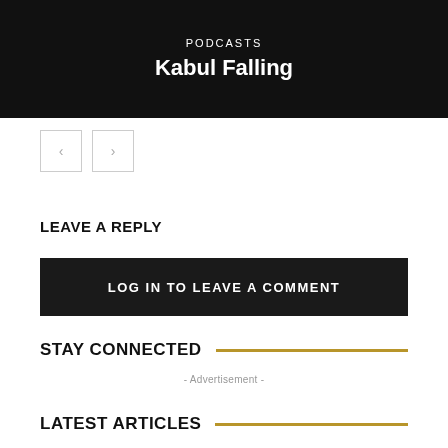PODCASTS
Kabul Falling
[Figure (other): Navigation previous and next arrow buttons]
LEAVE A REPLY
LOG IN TO LEAVE A COMMENT
STAY CONNECTED
- Advertisement -
LATEST ARTICLES